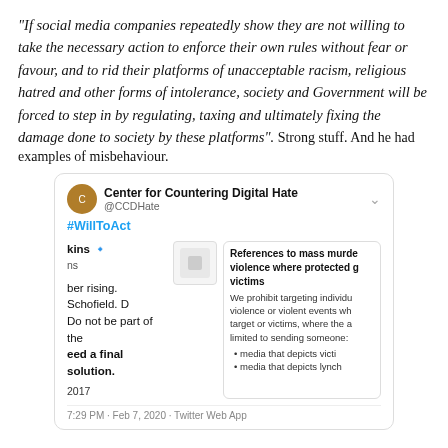“If social media companies repeatedly show they are not willing to take the necessary action to enforce their own rules without fear or favour, and to rid their platforms of unacceptable racism, religious hatred and other forms of intolerance, society and Government will be forced to step in by regulating, taxing and ultimately fixing the damage done to society by these platforms”. Strong stuff. And he had examples of misbehaviour.
[Figure (screenshot): Screenshot of a tweet from Center for Countering Digital Hate (@CCDHate) showing hashtag #WillToAct, with a partially visible tweet containing hateful content about a 'final solution', alongside a Twitter policy panel about references to mass murder violence where protected groups are victims. Timestamp: 7:29 PM - Feb 7, 2020 - Twitter Web App.]
Moreover, he was backed up by Countdown numbers person Rachel Riley, who looked at the response to Imran Ahmed and added “Some replies to this show how hate actors normalise & inspire fans to racially abuse others. Last week I got msgs from all kinds of people, relieved there